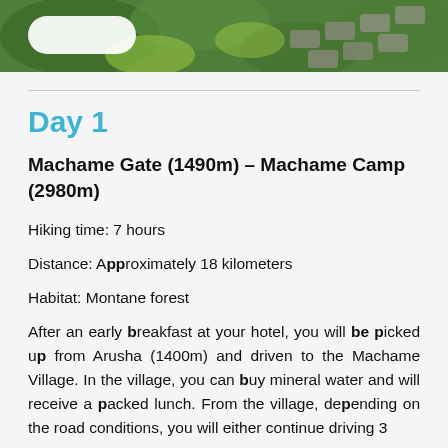[Figure (photo): Aerial view of green garden with stone pathway and tropical plants]
Day 1
Machame Gate (1490m) – Machame Camp (2980m)
Hiking time: 7 hours
Distance: Approximately 18 kilometers
Habitat: Montane forest
After an early breakfast at your hotel, you will be picked up from Arusha (1400m) and driven to the Machame Village. In the village, you can buy mineral water and will receive a packed lunch. From the village, depending on the road conditions, you will either continue driving 3